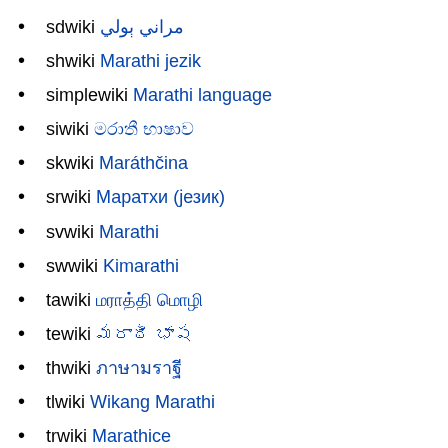sdwiki مراني ٻولي
shwiki Marathi jezik
simplewiki Marathi language
siwiki මරාතී භාෂාව
skwiki Maráthčina
srwiki Маратхи (језик)
svwiki Marathi
swwiki Kimarathi
tawiki மராத்தி மொழி
tewiki మరాఠీ భాష
thwiki ภาษามราฐี
tlwiki Wikang Marathi
trwiki Marathice
ugwiki ماراتچه
ukwiki Маратхі (мова)